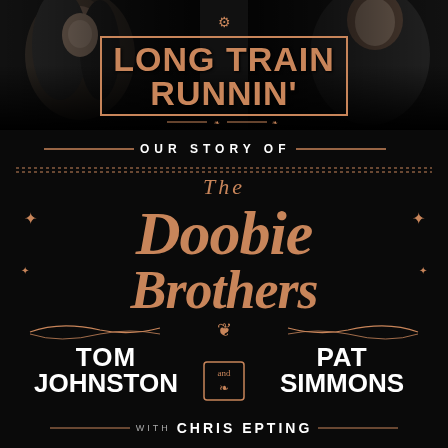[Figure (illustration): Book cover with black and white photos of band members at top left and top right, dark/black background throughout]
LONG TRAIN RUNNIN'
OUR STORY OF
The Doobie Brothers
TOM JOHNSTON and PAT SIMMONS
WITH CHRIS EPTING